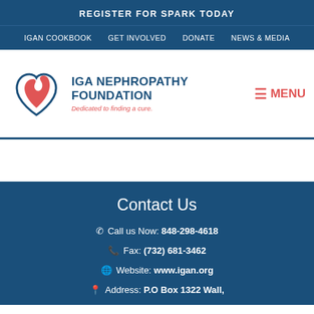REGISTER FOR SPARK TODAY
IGAN COOKBOOK  GET INVOLVED  DONATE  NEWS & MEDIA
[Figure (logo): IGA Nephropathy Foundation logo — stylized heart/kidney SVG in dark blue outline with red fill, beside bold text 'IGA NEPHROPATHY FOUNDATION' in dark blue and italic tagline 'Dedicated to finding a cure.' in red. MENU button in red at right.]
Contact Us
Call us Now: 848-298-4618
Fax: (732) 681-3462
Website: www.igan.org
Address: P.O Box 1322 Wall,